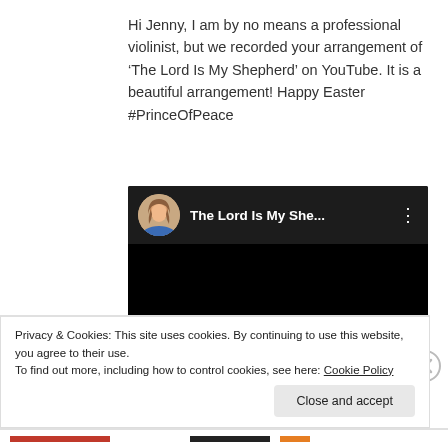Hi Jenny, I am by no means a professional violinist, but we recorded your arrangement of ‘The Lord Is My Shepherd’ on YouTube. It is a beautiful arrangement! Happy Easter #PrinceOfPeace
[Figure (screenshot): YouTube video thumbnail showing a woman with brown hair in a blue top (circular avatar), title 'The Lord Is My She...' with three-dot menu, on a dark background]
Privacy & Cookies: This site uses cookies. By continuing to use this website, you agree to their use.
To find out more, including how to control cookies, see here: Cookie Policy
Close and accept